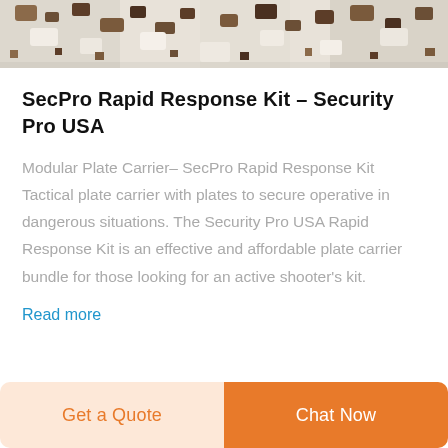[Figure (photo): Partial view of camouflage pattern fabric/gear in desert camo (white, brown, tan digital pattern), cropped at the top of the page]
SecPro Rapid Response Kit – Security Pro USA
Modular Plate Carrier– SecPro Rapid Response Kit Tactical plate carrier with plates to secure operative in dangerous situations. The Security Pro USA Rapid Response Kit is an effective and affordable plate carrier bundle for those looking for an active shooter's kit.
Read more
Get a Quote
Chat Now